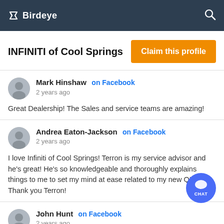Birdeye
INFINITI of Cool Springs
Claim this profile
Mark Hinshaw on Facebook
2 years ago
Great Dealership! The Sales and service teams are amazing!
Andrea Eaton-Jackson on Facebook
2 years ago
I love Infiniti of Cool Springs! Terron is my service advisor and he's great! He's so knowledgeable and thoroughly explains things to me to set my mind at ease related to my new QX80. Thank you Terron!
John Hunt on Facebook
2 years ago